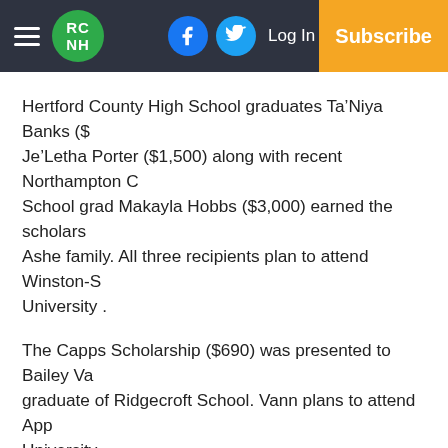RCNH | Log In | Subscribe
Hertford County High School graduates Ta’Niya Banks ($…) Je’Letha Porter ($1,500) along with recent Northampton County School grad Makayla Hobbs ($3,000) earned the scholarships from the Ashe family. All three recipients plan to attend Winston-S… University .
The Capps Scholarship ($690) was presented to Bailey Va… a graduate of Ridgecroft School. Vann plans to attend App… University.
Community Fund grants were presented to the Ahoskie M… to the St. Thomas Church (of Windsor) Backpack Program… $575